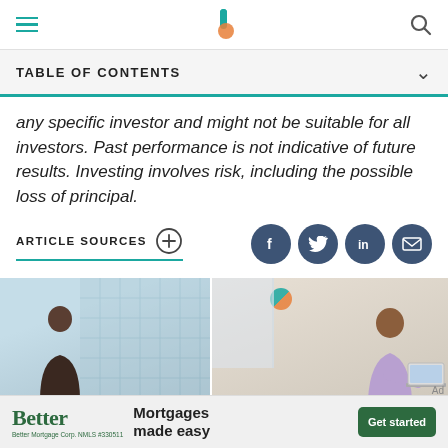TABLE OF CONTENTS
any specific investor and might not be suitable for all investors. Past performance is not indicative of future results. Investing involves risk, including the possible loss of principal.
ARTICLE SOURCES
[Figure (other): Two editorial photos side by side: left shows a person looking at a grid/wall display; right shows a woman working at a laptop]
[Figure (other): Better Mortgage advertisement banner: 'Better Mortgages made easy' with Get started button]